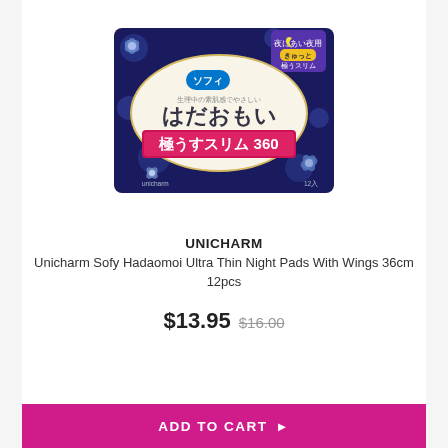[Figure (photo): Unicharm Sofy Hadaomoi product package — dark navy blue floral pattern, Japanese text including ソフィ brand logo, はだおもい (Hadaomoi) and 極うすスリム360 in pink/white text, with a moon/night symbol in purple top right corner.]
UNICHARM
Unicharm Sofy Hadaomoi Ultra Thin Night Pads With Wings 36cm 12pcs
$13.95 $16.00
ADD TO CART ▶